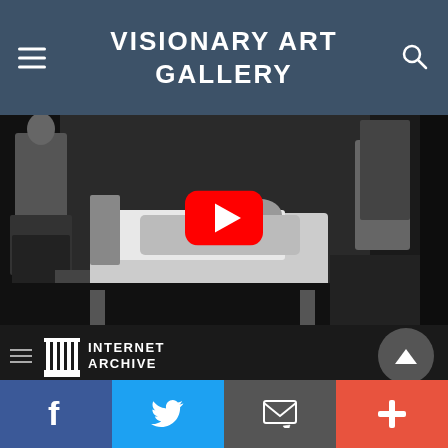VISIONARY ART GALLERY
[Figure (screenshot): Black and white video thumbnail showing a bedroom scene with a figure standing left, a bed in center, and a figure seated right. A YouTube red play button is overlaid in the center.]
[Figure (logo): Internet Archive logo with hamburger menu icon, column/pillar icon, and text INTERNET ARCHIVE]
This item is no longer available
Items may be taken down for various reasons, including or due to a violation of our Terms
Facebook | Twitter | Email | More (+)